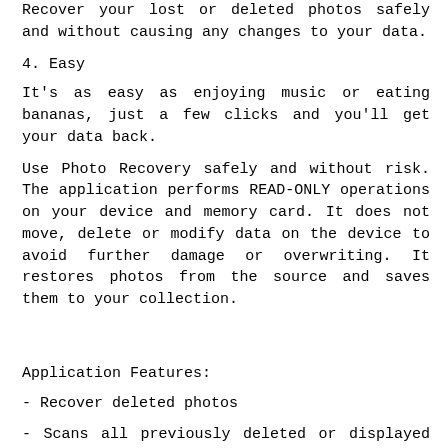Recover your lost or deleted photos safely and without causing any changes to your data.
4.  Easy
It's as easy as enjoying music or eating bananas, just a few clicks and you'll get your data back.
Use Photo Recovery safely and without risk. The application performs READ-ONLY operations on your device and memory card. It does not move, delete or modify data on the device to avoid further damage or overwriting. It restores photos from the source and saves them to your collection.
Application Features:
- Recover deleted photos
- Scans all previously deleted or displayed photos on